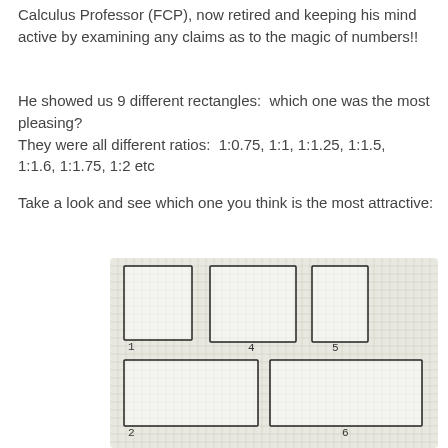Calculus Professor (FCP), now retired and keeping his mind active by examining any claims as to the magic of numbers!!
He showed us 9 different rectangles:  which one was the most pleasing?
They were all different ratios:  1:0.75, 1:1, 1:1.25, 1:1.5, 1:1.6, 1:1.75, 1:2 etc
Take a look and see which one you think is the most attractive:
[Figure (illustration): Hand-drawn image on graph paper showing multiple rectangles of different proportions, numbered 1, 2, 4, 5, 6 visible. Rectangles are arranged in a grid layout on squared/grid paper background.]